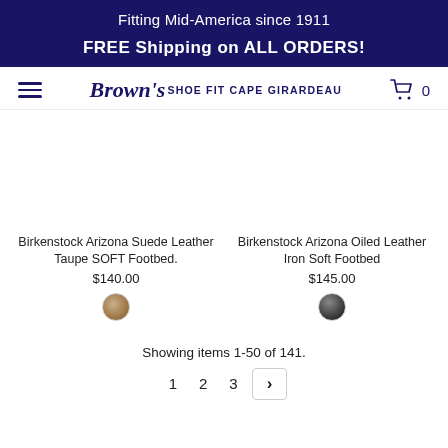Fitting Mid-America since 1911
FREE Shipping on ALL ORDERS!
[Figure (logo): Brown's Shoe Fit Cape Girardeau logo with hamburger menu and cart icon showing 0 items]
Birkenstock Arizona Suede Leather Taupe SOFT Footbed.
$140.00
Birkenstock Arizona Oiled Leather Iron Soft Footbed
$145.00
Showing items 1-50 of 141.
1  2  3  >